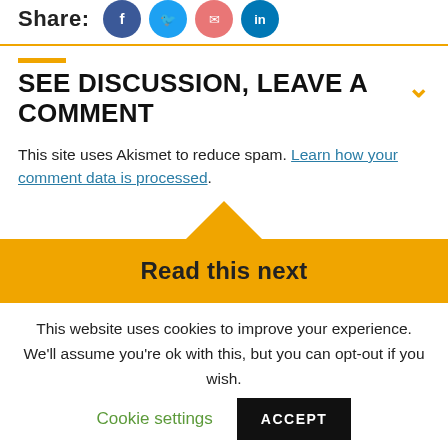Share:
[Figure (other): Social share icons: Facebook (blue circle), Twitter (light blue circle), Email (red circle), LinkedIn (dark blue circle)]
SEE DISCUSSION, LEAVE A COMMENT
This site uses Akismet to reduce spam. Learn how your comment data is processed.
Read this next
This website uses cookies to improve your experience. We'll assume you're ok with this, but you can opt-out if you wish.
Cookie settings
ACCEPT